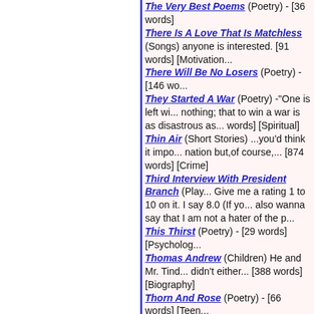The Very Best Poems (Poetry) - [36 words]
There Is A Love That Is Matchless (Songs) anyone is interested. [91 words] [Motivation...
There Will Be No Losers (Poetry) - [146 wo...
They Started A War (Poetry) -"One is left wi... nothing; that to win a war is as disastrous as... words] [Spiritual]
Thin Air (Short Stories) ...you'd think it impo... nation but,of course,... [874 words] [Crime]
Third Interview With President Branch (Play... Give me a rating 1 to 10 on it. I say 8.0 (If yo... also wanna say that I am not a hater of the p...
This Thirst (Poetry) - [29 words] [Psycholog...
Thomas Andrew (Children) He and Mr. Tind... didn't either... [388 words] [Biography]
Thorn And Rose (Poetry) - [66 words] [Teen...
Those Images (Poetry) - [30 words] [Relatio...
Three Poem Collection (Poetry) No particula... Poem for Cathy; Ingots; and The Saltless Se...
Three Poem Collection No. 2 (Poetry) Thes... bug off; Fat Farm Arrival; and Bleak Anniver...
Three-Song Collection (Songs) Two are sup... author's music is available for evaluation. So... at others the lyrics. [410 words] [Spiritual]
Tight Jeans 1 (Short Stories) - [264 words] [
Tight Jeans 2 (Short Stories) - [246 words] [
Tight Jeans 3 (Short Stories) ... but she was...